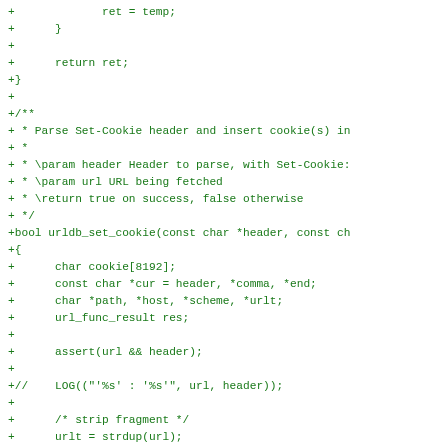Code diff showing urldb_set_cookie function implementation in C, with lines prefixed by + indicating additions. Includes variable declarations, assert, LOG comment, and fragment stripping logic.